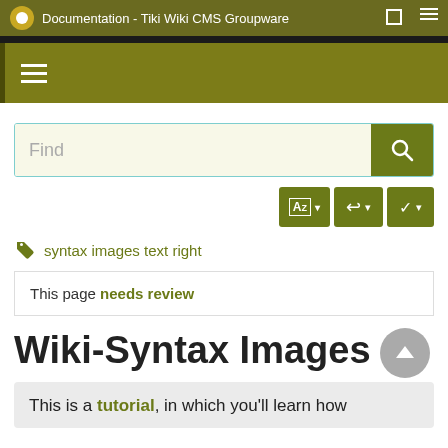Documentation - Tiki Wiki CMS Groupware
[Figure (screenshot): Olive/yellow-green navigation bar with hamburger menu icon]
[Figure (screenshot): Search box with 'Find' placeholder text and green search button]
[Figure (screenshot): Toolbar with AZ sort button, undo button, and down arrow button]
syntax images text right
This page needs review
Wiki-Syntax Images
This is a tutorial, in which you'll learn how